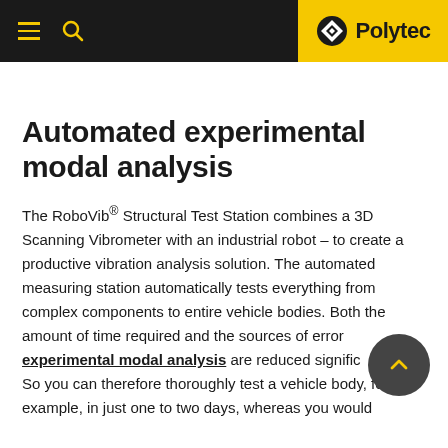Polytec
Automated experimental modal analysis
The RoboVib® Structural Test Station combines a 3D Scanning Vibrometer with an industrial robot – to create a productive vibration analysis solution. The automated measuring station automatically tests everything from complex components to entire vehicle bodies. Both the amount of time required and the sources of error experimental modal analysis are reduced significantly. So you can therefore thoroughly test a vehicle body, for example, in just one to two days, whereas you would